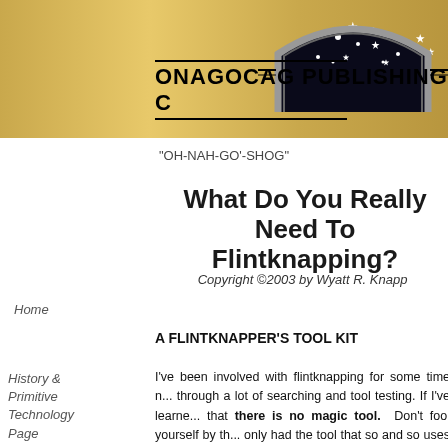[Figure (logo): Onagocag Publishing Company logo with an arch/dome filled with stars on a dark background, horizontal decorative lines flanking it, company name below in bold text on a gold gradient banner background.]
"OH-NAH-GO'-SHOG"
What Do You Really Need To Flintknapping?
Copyright ©2003 by Wyatt R. Knapp
Home
A FLINTKNAPPER'S TOOL KIT
History & Primitive Technology Page
I've been involved with flintknapping for some time now, through a lot of searching and tool testing. If I've learned one thing, that there is no magic tool. Don't fool yourself by thinking if only had the tool that so and so uses I'd be able to flintknap. There must be some tool that makes this simple." Let me tell you if there was a trick to it that made it easy then everyone would be doing it.